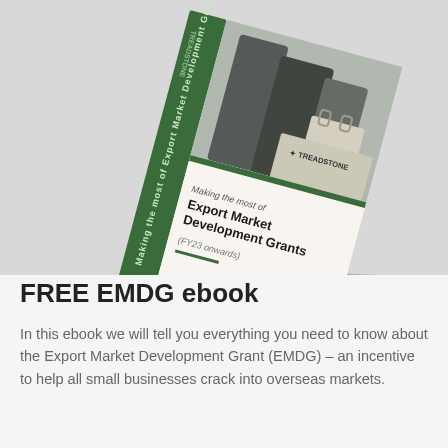[Figure (illustration): A 3D book cover illustration showing 'Making the most of Export Market Development Grants (FY23 onwards)' by Treadstone, with a green spine and cover featuring two business people with a shopping bag, shown at an angle on a light grey background.]
FREE EMDG ebook
In this ebook we will tell you everything you need to know about the Export Market Development Grant (EMDG) – an incentive to help all small businesses crack into overseas markets.